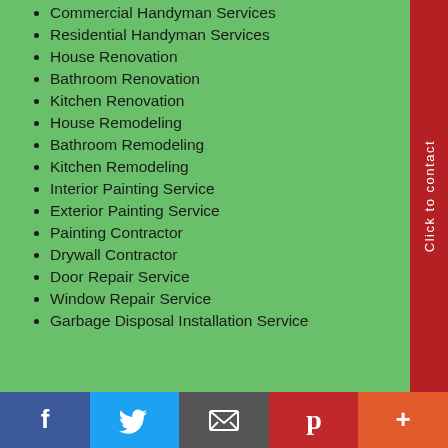Commercial Handyman Services
Residential Handyman Services
House Renovation
Bathroom Renovation
Kitchen Renovation
House Remodeling
Bathroom Remodeling
Kitchen Remodeling
Interior Painting Service
Exterior Painting Service
Painting Contractor
Drywall Contractor
Door Repair Service
Window Repair Service
Garbage Disposal Installation Service
[Figure (infographic): Red vertical sidebar with white rotated text 'Click to contact']
[Figure (infographic): Social media bar at bottom with Facebook, Twitter, Email, Pinterest, and More buttons]